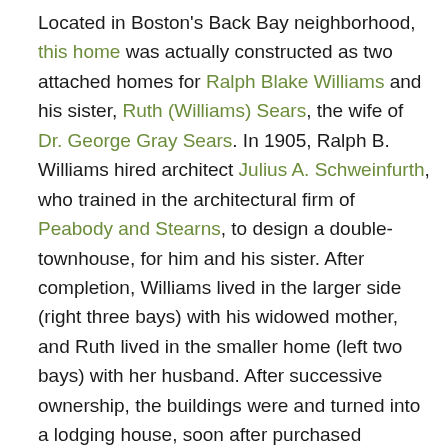Located in Boston's Back Bay neighborhood, this home was actually constructed as two attached homes for Ralph Blake Williams and his sister, Ruth (Williams) Sears, the wife of Dr. George Gray Sears. In 1905, Ralph B. Williams hired architect Julius A. Schweinfurth, who trained in the architectural firm of Peabody and Stearns, to design a double-townhouse, for him and his sister. After completion, Williams lived in the larger side (right three bays) with his widowed mother, and Ruth lived in the smaller home (left two bays) with her husband. After successive ownership, the buildings were and turned into a lodging house, soon after purchased together in 1955 and turned into a school, the Chandler School for Women. The homes remained separate until 1959, when the school demolished the interior party wall, effectively combining the two properties into one, this is likely when the Sears' front door was filled in, leaving one front door in the center bay. In 1971, the New England College of Optometry purchased the building